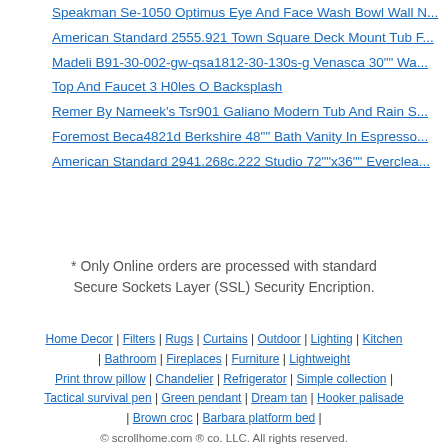Speakman Se-1050 Optimus Eye And Face Wash Bowl Wall M...
American Standard 2555.921 Town Square Deck Mount Tub...
Madeli B91-30-002-gw-qsa1812-30-130s-g Venasca 30"" Wal... Top And Faucet 3 H0les O Backsplash
Remer By Nameek's Tsr901 Galiano Modern Tub And Rain S...
Foremost Beca4821d Berkshire 48"" Bath Vanity In Espresso...
American Standard 2941.268c.222 Studio 72""x36"" Everclea...
* Only Online orders are processed with standard Secure Sockets Layer (SSL) Security Encription.
Home Decor | Filters | Rugs | Curtains | Outdoor | Lighting | Kitchen | Bathroom | Fireplaces | Furniture | Lightweight Print throw pillow | Chandelier | Refrigerator | Simple collection | Tactical survival pen | Green pendant | Dream tan | Hooker palisade | Brown croc | Barbara platform bed | © scrollhome.com ® co. LLC. All rights reserved. With any using link to scrollhome.com strongly required.